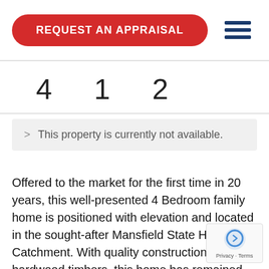REQUEST AN APPRAISAL
4  1  2
> This property is currently not available.
Offered to the market for the first time in 20 years, this well-presented 4 Bedroom family home is positioned with elevation and located in the sought-after Mansfield State High Catchment. With quality construction using hardwood timbers, this home has remained